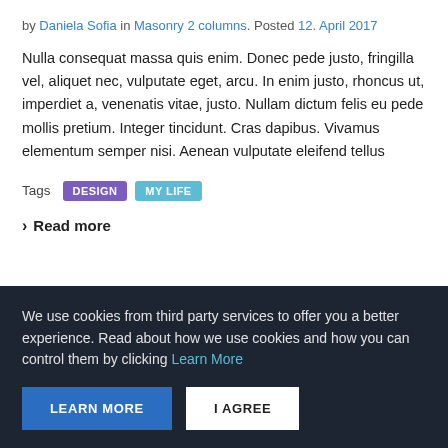by Daniela Sofia in Masonry 2 columns. Posted 12. April 2017
Nulla consequat massa quis enim. Donec pede justo, fringilla vel, aliquet nec, vulputate eget, arcu. In enim justo, rhoncus ut, imperdiet a, venenatis vitae, justo. Nullam dictum felis eu pede mollis pretium. Integer tincidunt. Cras dapibus. Vivamus elementum semper nisi. Aenean vulputate eleifend tellus
Tags  DESIGN  MY LIFE
> Read more
We use cookies from third party services to offer you a better experience. Read about how we use cookies and how you can control them by clicking Learn More
LEARN MORE  I AGREE